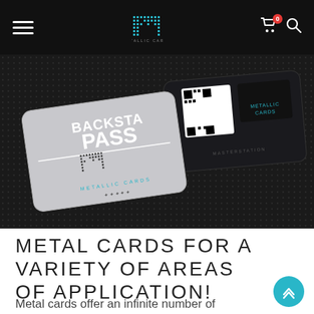MetallicCards navigation bar with hamburger menu, logo, cart icon and search icon
[Figure (photo): Two metallic backstage pass cards on a dark textured background. The front card reads 'BACKSTAGE PASS' with the Metallic Cards logo (dotted M). The back card shows a QR code and the Metallic Cards logo.]
METAL CARDS FOR A VARIETY OF AREAS OF APPLICATION!
Metal cards offer an infinite number of